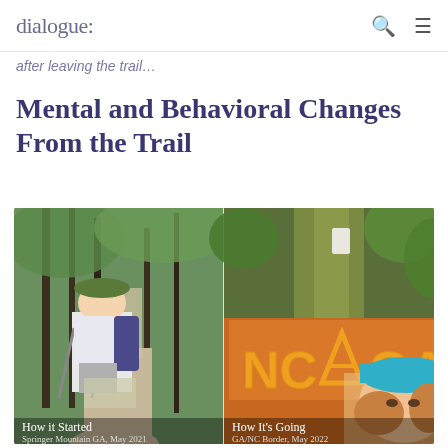dialogue:
after leaving the trail…
Mental and Behavioral Changes From the Trail
[Figure (photo): Composite of two outdoor hiking photos side by side. Left: A woman with a green hat, backpack, and trekking poles standing at Springer Mountain GA, May 2021 (labeled 'How it Started'). Right: Close-up of a woman wearing a teal hat near a signpost reading 'NC GA' with an Appalachian Trail logo, at GA/NC Border, May 2022 (labeled 'How It's Going').]
How it Started  Springer Mountain GA, May 2021   How It's Going  GA/NC Border, May 2022